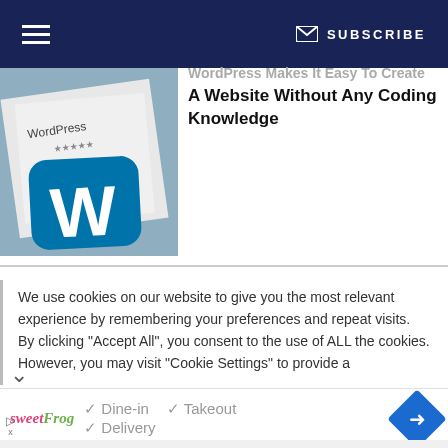≡  ✉ SUBSCRIBE
[Figure (photo): Close-up photo of a WordPress logo/icon on a mobile device or card, showing the W logo in blue]
WordPress Makes It Easy To Create A Website Without Any Coding Knowledge
We use cookies on our website to give you the most relevant experience by remembering your preferences and repeat visits. By clicking "Accept All", you consent to the use of ALL the cookies. However, you may visit "Cookie Settings" to provide a
[Figure (infographic): Advertisement banner for sweetFrog showing Dine-in, Takeout, and Delivery options with checkmarks, and a blue navigation/directions icon]